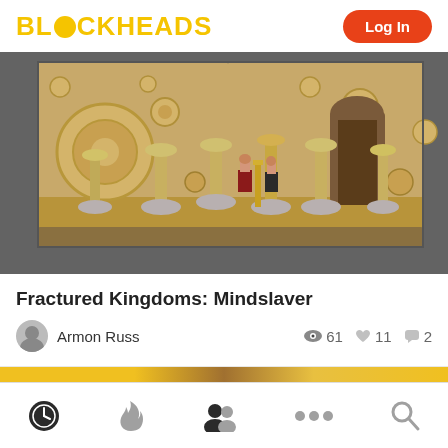BLOCKHEADS | Log In
[Figure (photo): LEGO scene of Fractured Kingdoms: Mindslaver — tan wooden room with circular gear decorations on walls, multiple tall pillar-like stands with goblet tops, two minifigures in the center background, arched doorway at rear]
Fractured Kingdoms: Mindslaver
Armon Russ   👁 61   ♥ 11   💬 2
[Figure (photo): Partial bottom strip showing gold/yellow and brown tones — bottom of next card]
Navigation bar: Recent | Hot | Community | More | Search